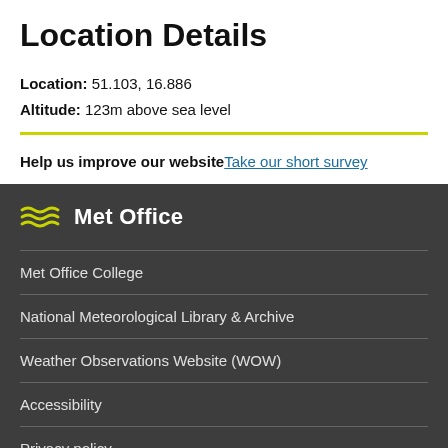Location Details
Location: 51.103, 16.886
Altitude: 123m above sea level
Help us improve our website Take our short survey
[Figure (logo): Met Office logo with wind lines icon and text 'Met Office']
Met Office College
National Meteorological Library & Archive
Weather Observations Website (WOW)
Accessibility
Privacy policy